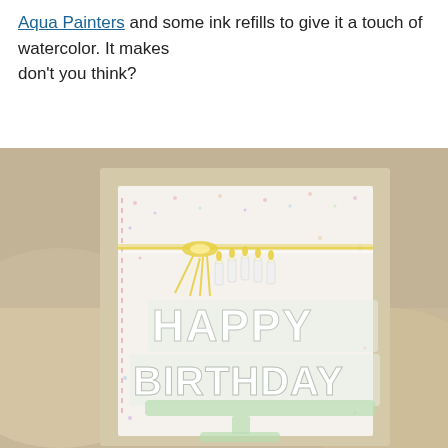Aqua Painters and some ink refills to give it a touch of watercolor. It makes don't you think?
[Figure (photo): Photo of a handmade Happy Birthday card with raised die-cut letters spelling HAPPY BIRTHDAY, decorated with candles and yellow twine bow, placed on a kraft card base against a blurred beige background.]